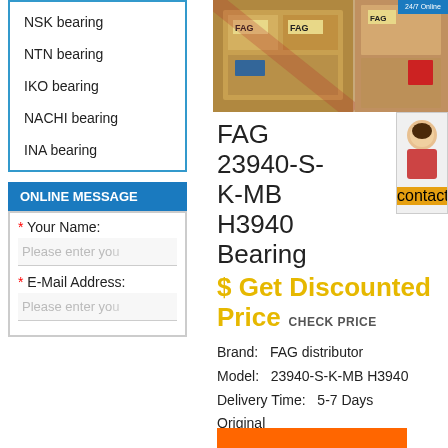NSK bearing
NTN bearing
IKO bearing
NACHI bearing
INA bearing
ONLINE MESSAGE
* Your Name:
Please enter you
* E-Mail Address:
Please enter you
[Figure (photo): FAG bearing product boxes/packaging shown in two photos side by side]
FAG 23940-S-K-MB H3940 Bearing
$ Get Discounted Price  CHECK PRICE
Brand:   FAG distributor
Model:   23940-S-K-MB H3940
Delivery Time:   5-7 Days
Original
✓in stock